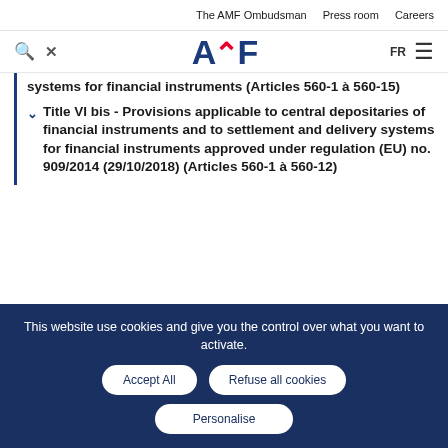The AMF Ombudsman   Press room   Careers
[Figure (logo): AMF logo with search icon, close icon, FR language selector and hamburger menu]
systems for financial instruments (Articles 560-1 à 560-15)
Title VI bis - Provisions applicable to central depositaries of financial instruments and to settlement and delivery systems for financial instruments approved under regulation (EU) no. 909/2014 (29/10/2018) (Articles 560-1 à 560-12)
This website use cookies and give you the control over what you want to activate.
Accept All   Refuse all cookies   Personalise